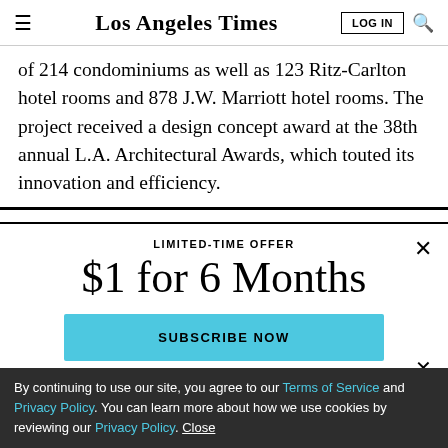Los Angeles Times | LOG IN | Search
of 214 condominiums as well as 123 Ritz-Carlton hotel rooms and 878 J.W. Marriott hotel rooms. The project received a design concept award at the 38th annual L.A. Architectural Awards, which touted its innovation and efficiency.
LIMITED-TIME OFFER
$1 for 6 Months
SUBSCRIBE NOW
By continuing to use our site, you agree to our Terms of Service and Privacy Policy. You can learn more about how we use cookies by reviewing our Privacy Policy. Close